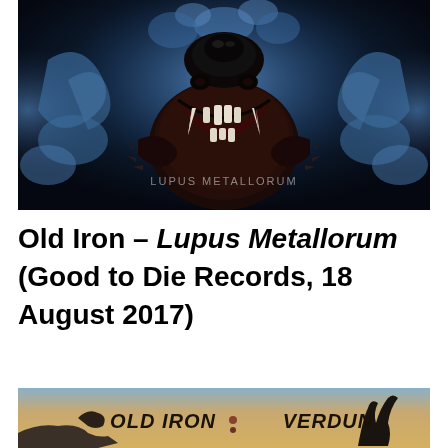[Figure (illustration): Album cover art for Lupus Metallorum by Old Iron — dark fantasy illustration of a snarling wolf/beast creature with large fangs and claws, surrounded by blue swirling smoke or vapor, with watermark text 'LUPUS METALLORUM' in the center]
Old Iron – Lupus Metallorum (Good to Die Records, 18 August 2017)
[Figure (illustration): Album/split cover showing 'OLD IRON' and 'VERDUN' text in heavy metal font over an orange background with a dinosaur or creature silhouette]